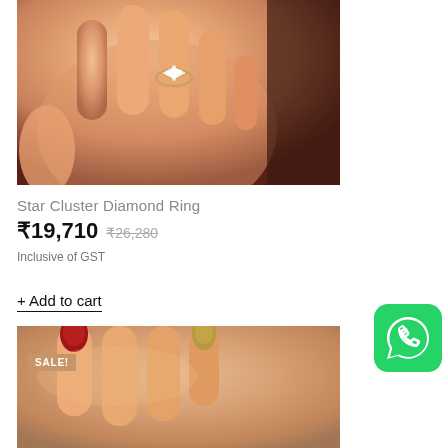[Figure (photo): A hand wearing a Star Cluster Diamond Ring with diamond-shaped cluster setting on a rose gold band, photographed against a skin-tone background]
Star Cluster Diamond Ring
₹19,710  ₹26,280
Inclusive of GST
+ Add to cart
[Figure (photo): A hand with red and gold nail polish, bottom product image with SALE! badge overlay]
[Figure (logo): WhatsApp icon button - green rounded square with white phone/chat icon]